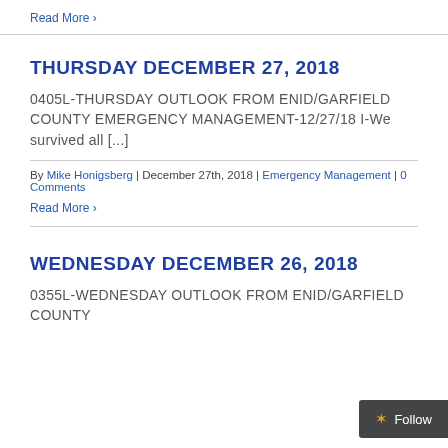Read More >
THURSDAY DECEMBER 27, 2018
0405L-THURSDAY OUTLOOK FROM ENID/GARFIELD COUNTY EMERGENCY MANAGEMENT-12/27/18 I-We survived all [...]
By Mike Honigsberg | December 27th, 2018 | Emergency Management | 0 Comments
Read More >
WEDNESDAY DECEMBER 26, 2018
0355L-WEDNESDAY OUTLOOK FROM ENID/GARFIELD COUNT...